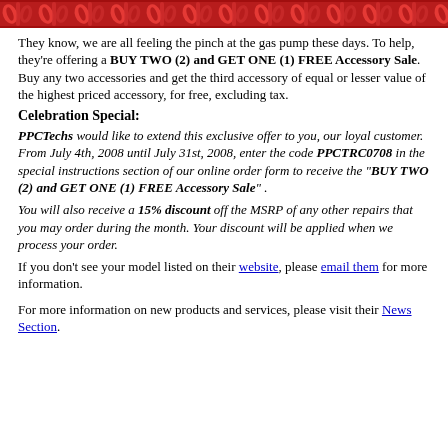[Figure (other): Decorative red patterned header banner with repeating leaf/geometric motifs]
They know, we are all feeling the pinch at the gas pump these days. To help, they're offering a BUY TWO (2) and GET ONE (1) FREE Accessory Sale. Buy any two accessories and get the third accessory of equal or lesser value of the highest priced accessory, for free, excluding tax.
Celebration Special:
PPCTechs would like to extend this exclusive offer to you, our loyal customer. From July 4th, 2008 until July 31st, 2008, enter the code PPCTRC0708 in the special instructions section of our online order form to receive the "BUY TWO (2) and GET ONE (1) FREE Accessory Sale" .
You will also receive a 15% discount off the MSRP of any other repairs that you may order during the month. Your discount will be applied when we process your order.
If you don't see your model listed on their website, please email them for more information.
For more information on new products and services, please visit their News Section.